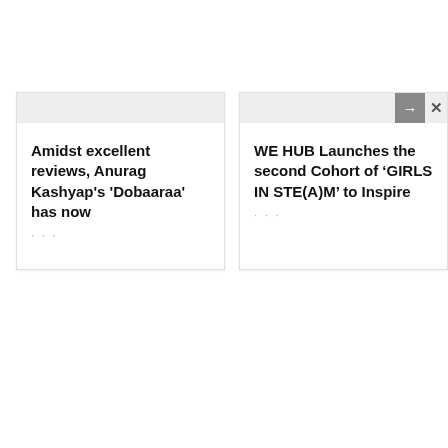Amidst excellent reviews, Anurag Kashyap's 'Dobaaraa' has now
WE HUB Launches the second Cohort of ‘GIRLS IN STE(A)M’ to Inspire